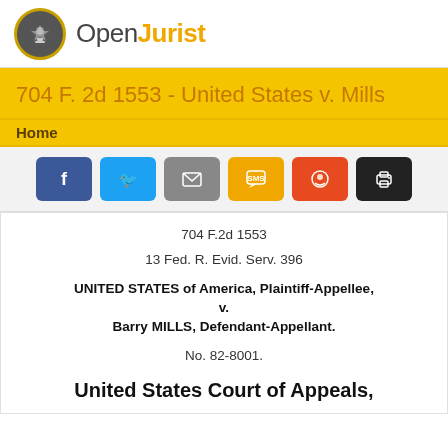OpenJurist
704 F. 2d 1553 - United States v. Mills
Home
[Figure (infographic): Social sharing buttons: Facebook, Twitter, Email, SMS, Reddit, Print]
704 F.2d 1553
13 Fed. R. Evid. Serv. 396
UNITED STATES of America, Plaintiff-Appellee,
v.
Barry MILLS, Defendant-Appellant.
No. 82-8001.
United States Court of Appeals,